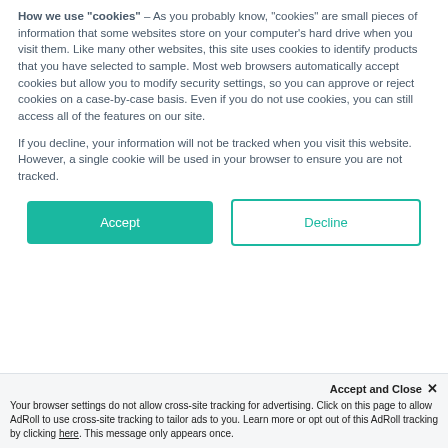How we use "cookies" – As you probably know, "cookies" are small pieces of information that some websites store on your computer's hard drive when you visit them. Like many other websites, this site uses cookies to identify products that you have selected to sample. Most web browsers automatically accept cookies but allow you to modify security settings, so you can approve or reject cookies on a case-by-case basis. Even if you do not use cookies, you can still access all of the features on our site.
If you decline, your information will not be tracked when you visit this website. However, a single cookie will be used in your browser to ensure you are not tracked.
[Figure (screenshot): Two buttons: green 'Accept' button and outlined 'Decline' button]
Tuohy Borst Adapter Components    /
Tuohy Borst Adapter Gasket, Extruded Style
Accept and Close ×  Your browser settings do not allow cross-site tracking for advertising. Click on this page to allow AdRoll to use cross-site tracking to tailor ads to you. Learn more or opt out of this AdRoll tracking by clicking here. This message only appears once.